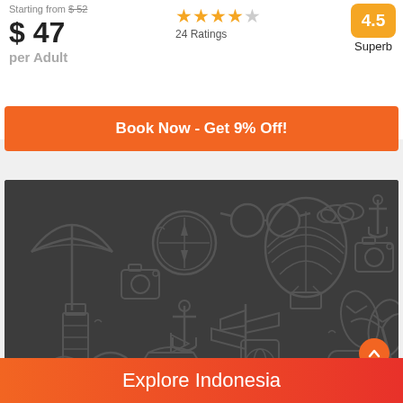Starting from $52
$ 47
per Adult
4 stars, 24 Ratings, 4.5 Superb
Book Now - Get 9% Off!
[Figure (illustration): Dark gray background with travel-themed outline icons: beach umbrella, sunglasses, cloud, anchor, compass, hot air balloon, camera, lighthouse, anchor, signpost, flip flops, boat, passport, 3D glasses, partial life preserver, partial palm tree]
Explore Indonesia